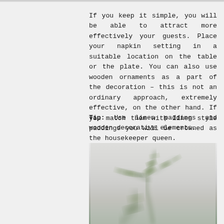If you keep it simple, you will be able to attract more effectively your guests. Place your napkin setting in a suitable location on the table or the plate. You can also use wooden ornaments as a part of the decoration – this is not an ordinary approach, extremely effective, on the other hand. If you match them with linen style paddings you will be crowned as the housekeeper queen.
Tip: Use linen paddings and wooden decorative elements.
[Figure (photo): A blurred photo showing a green plant branch/sprig with small leaves against a light white/grey background, likely a decorative table setting photo.]